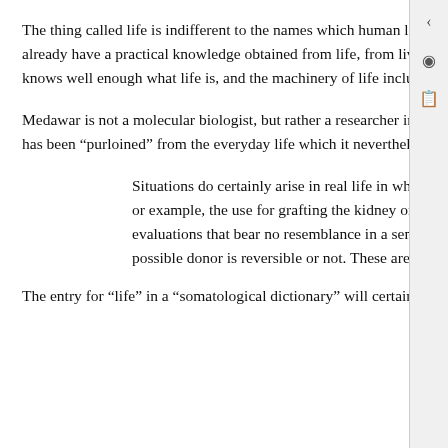The thing called life is indifferent to the names which human language give it. According to Medawar, nature does not care. Indeed, researchers already have a practical knowledge obtained from life, from lived experience and their experience of life in the course of their research. Everyone knows well enough what life is, and the machinery of life includes (for example) the machinery of protein translation.
Medawar is not a molecular biologist, but rather a researcher in organismic biology. He gives an example of the limits of the common language which has been "purloined" from the everyday life which it nevertheless purports to explain:
Situations do certainly arise in real life in which a definition of life (or all that “living” connotes) is genuinely important. Consider, for example, the use for grafting the kidney or other organ of a potential donor. Here the decision turns upon a number of technical evaluations that bear no resemblance in a sematological dictionary: the assessment of brain function, whether the condition of the possible donor is reversible or not. These are questions that a dictionary will not help to answer. (66-67)
The entry for “life” in a “somatological dictionary” will certainly not